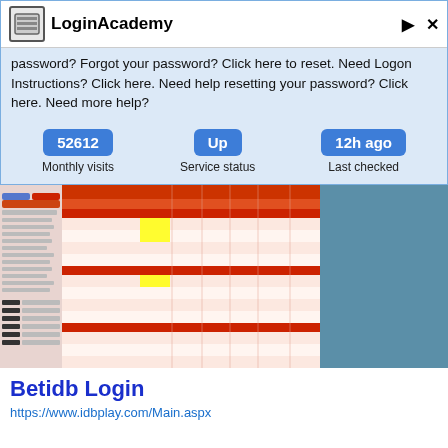LoginAcademy
password? Forgot your password? Click here to reset. Need Logon Instructions? Click here. Need help resetting your password? Click here. Need more help?
52612 Monthly visits | Up Service status | 12h ago Last checked
[Figure (screenshot): Screenshot of Betidb betting website showing a table with odds and match information on a reddish/orange themed sports betting interface]
Betidb Login
https://www.idbplay.com/Main.aspx